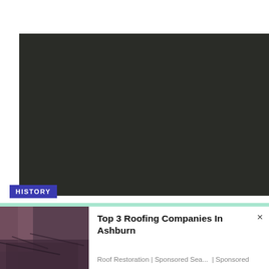[Figure (photo): Dark, nearly black photograph, possibly a night sky or very dark scene]
HISTORY
[Figure (photo): Advertisement showing a damaged roof with missing slate shingles, trees visible in background]
Top 3 Roofing Companies In Ashburn
Roof Restoration | Sponsored Sea...  | Sponsored